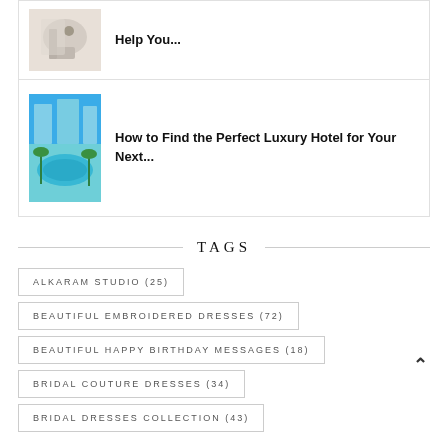[Figure (photo): Thumbnail image for article about help topic, showing spa or beauty related content]
Help You...
[Figure (photo): Aerial view of luxury hotel with pool and blue water]
How to Find the Perfect Luxury Hotel for Your Next...
TAGS
ALKARAM STUDIO (25)
BEAUTIFUL EMBROIDERED DRESSES (72)
BEAUTIFUL HAPPY BIRTHDAY MESSAGES (18)
BRIDAL COUTURE DRESSES (34)
BRIDAL DRESSES COLLECTION (43)